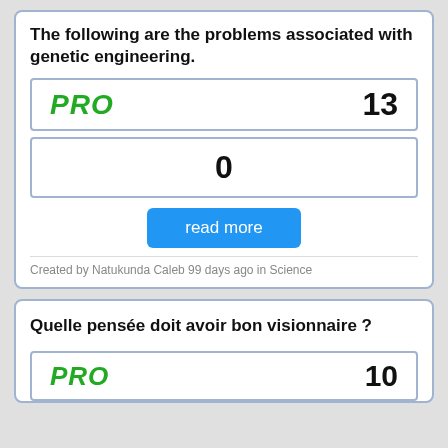The following are the problems associated with genetic engineering.
| PRO | 13 |
| --- | --- |
|  | 0 |
read more
Created by Natukunda Caleb 99 days ago in Science
Quelle pensée doit avoir bon visionnaire ?
[Figure (other): PRO label with count 10, partially visible at bottom]